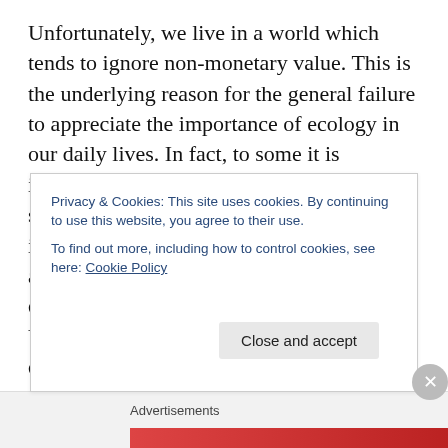Unfortunately, we live in a world which tends to ignore non-monetary value. This is the underlying reason for the general failure to appreciate the importance of ecology in our daily lives. In fact, to some it is incomprehensible that we live in an eco-system and not in an economy! In the past, in an effort to try and remedy this myopic approach, there has been an attempt to quantify the economic value of biodiversity. Various studies have been undertaken to quantify this value on both a European level as well as an individual country basis. These studies explore and try to quantify what it would cost to replace the services that
Privacy & Cookies: This site uses cookies. By continuing to use this website, you agree to their use.
To find out more, including how to control cookies, see here: Cookie Policy
Close and accept
Advertisements